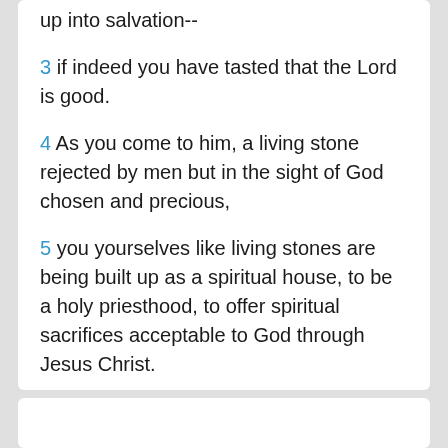up into salvation--
3 if indeed you have tasted that the Lord is good.
4 As you come to him, a living stone rejected by men but in the sight of God chosen and precious,
5 you yourselves like living stones are being built up as a spiritual house, to be a holy priesthood, to offer spiritual sacrifices acceptable to God through Jesus Christ.